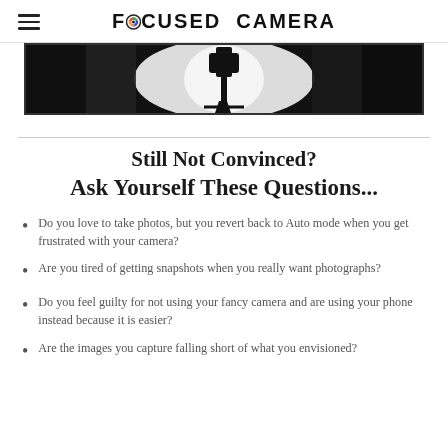FocusEd Camera
[Figure (photo): Black and white photo of a camera or tripod silhouette against a bright background, partially cropped at top of page]
Still Not Convinced?
Ask Yourself These Questions...
Do you love to take photos, but you revert back to Auto mode when you get frustrated with your camera?
Are you tired of getting snapshots when you really want photographs?
Do you feel guilty for not using your fancy camera and are using your phone instead because it is easier?
Are the images you capture falling short of what you envisioned?